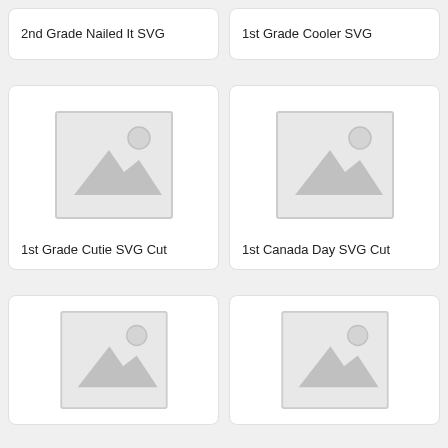2nd Grade Nailed It SVG
1st Grade Cooler SVG
[Figure (illustration): Placeholder image icon with mountain and sun]
1st Grade Cutie SVG Cut
[Figure (illustration): Placeholder image icon with mountain and sun]
1st Canada Day SVG Cut
[Figure (illustration): Placeholder image icon with mountain and sun]
[Figure (illustration): Placeholder image icon with mountain and sun]